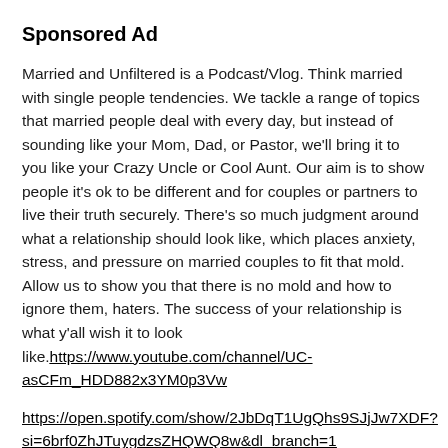Sponsored Ad
Married and Unfiltered is a Podcast/Vlog. Think married with single people tendencies. We tackle a range of topics that married people deal with every day, but instead of sounding like your Mom, Dad, or Pastor, we'll bring it to you like your Crazy Uncle or Cool Aunt. Our aim is to show people it's ok to be different and for couples or partners to live their truth securely. There's so much judgment around what a relationship should look like, which places anxiety, stress, and pressure on married couples to fit that mold. Allow us to show you that there is no mold and how to ignore them, haters. The success of your relationship is what y'all wish it to look like.https://www.youtube.com/channel/UC-asCFm_HDD882x3YM0p3Vw
https://open.spotify.com/show/2JbDqT1UgQhs9SJjJw7XDF?si=6brf0ZhJTuygdzsZHQWQ8w&dl_branch=1